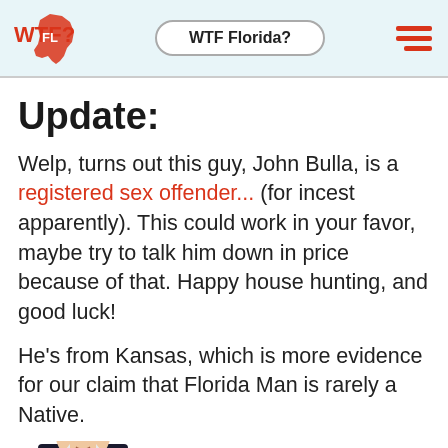WTF Florida?
Update:
Welp, turns out this guy, John Bulla, is a registered sex offender... (for incest apparently). This could work in your favor, maybe try to talk him down in price because of that. Happy house hunting, and good luck!
He's from Kansas, which is more evidence for our claim that Florida Man is rarely a Native.
stigative Journalism:
[Figure (photo): Partial image of a man in a suit with a tie, visible from roughly the chest up, positioned at the bottom-left of the page.]